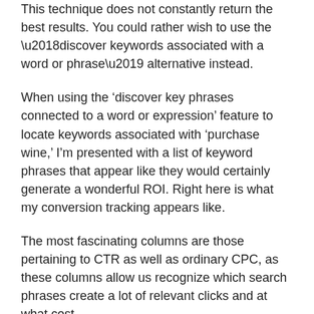This technique does not constantly return the best results. You could rather wish to use the ‘discover keywords associated with a word or phrase’ alternative instead.
When using the ‘discover key phrases connected to a word or expression’ feature to locate keywords associated with ‘purchase wine,’ I’m presented with a list of keyword phrases that appear like they would certainly generate a wonderful ROI. Right here is what my conversion tracking appears like.
The most fascinating columns are those pertaining to CTR as well as ordinary CPC, as these columns allow us recognize which search phrases create a lot of relevant clicks and at what cost.